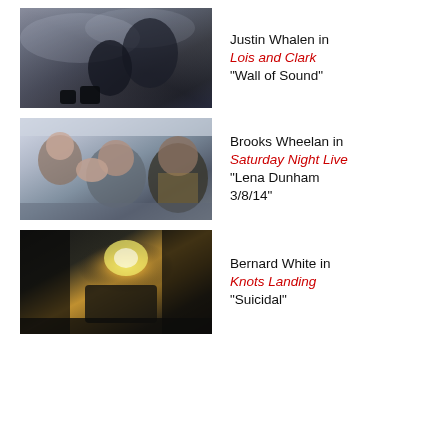[Figure (photo): Dark atmospheric photo showing figures in smoky/misty environment]
Justin Whalen in
Lois and Clark
"Wall of Sound"
[Figure (photo): Three people sitting in back of a car, one with hand raised and tape on mouth]
Brooks Wheelan in
Saturday Night Live
"Lena Dunham 3/8/14"
[Figure (photo): Dark blurry image with warm yellow/golden light in background, indistinct figure]
Bernard White in
Knots Landing
"Suicidal"